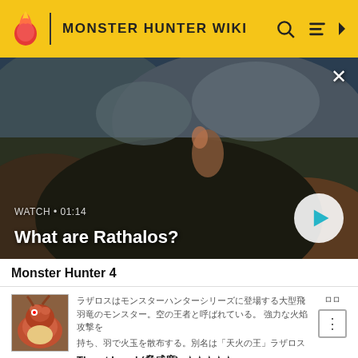MONSTER HUNTER WIKI
[Figure (screenshot): Monster Hunter gameplay video thumbnail showing a hunter on a large monster in a rocky environment. Text overlay: WATCH • 01:14 / What are Rathalos? with a play button.]
Monster Hunter 4
Garbled Japanese text. Threat Level (脅威度): ★★★★★
Monster Hunter 4 Ultimate